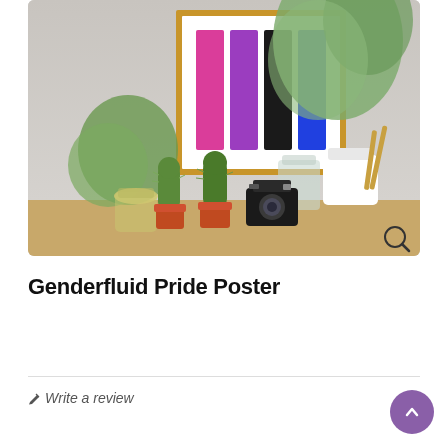[Figure (photo): A framed art poster showing four vertical colored bars (magenta, purple, black, blue) on a white background, displayed on a wooden shelf surrounded by plants, cacti, a glass jar, and a vintage camera. Magnifying glass icon in bottom-right corner.]
Genderfluid Pride Poster
Write a review